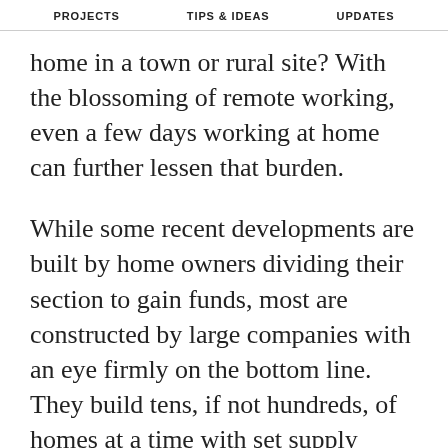PROJECTS   TIPS & IDEAS   UPDATES
home in a town or rural site? With the blossoming of remote working, even a few days working at home can further lessen that burden.
While some recent developments are built by home owners dividing their section to gain funds, most are constructed by large companies with an eye firmly on the bottom line. They build tens, if not hundreds, of homes at a time with set supply chains, workflows and business models. Change is necessary, but suggestions of mechanical